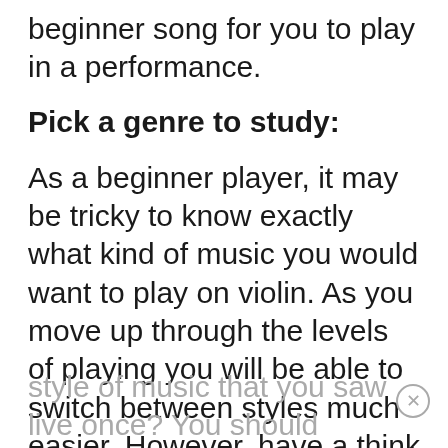beginner song for you to play in a performance.
Pick a genre to study:
As a beginner player, it may be tricky to know exactly what kind of music you would want to play on violin. As you move up through the levels of playing you will be able to switch between styles much easier. However, have a think about what motivated you to take up the violin in the first place. Was it a particular violinist? Was it a particular style of music that you saw live once? You should choose your first few pieces